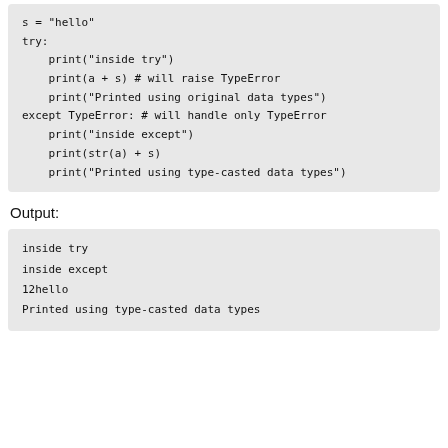[Figure (screenshot): Code block showing Python try/except example with s = 'hello', try block printing inside try, a+s (raises TypeError), and a message, except TypeError block printing inside except, str(a)+s, and a type-casted message.]
Output:
[Figure (screenshot): Output block showing: inside try, inside except, 12hello, Printed using type-casted data types]